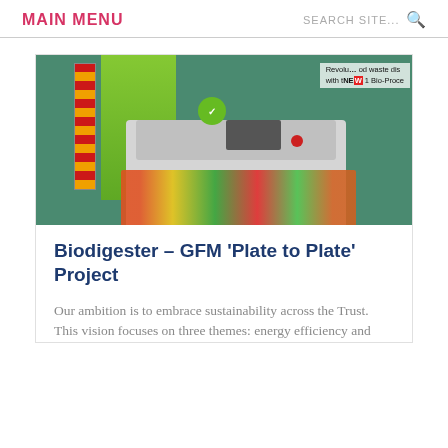MAIN MENU
[Figure (photo): Photo of a biodigester machine at an exhibition or trade show, showing a white industrial food waste processing unit with colorful food waste visible, green display panels, and a banner reading 'Revolutionising food waste disposal with the NEW Bio-Processor']
Biodigester – GFM 'Plate to Plate' Project
Our ambition is to embrace sustainability across the Trust. This vision focuses on three themes: energy efficiency and